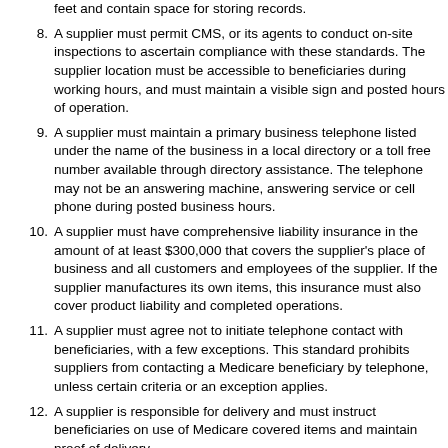feet and contain space for storing records.
8. A supplier must permit CMS, or its agents to conduct on-site inspections to ascertain compliance with these standards. The supplier location must be accessible to beneficiaries during working hours, and must maintain a visible sign and posted hours of operation.
9. A supplier must maintain a primary business telephone listed under the name of the business in a local directory or a toll free number available through directory assistance. The telephone may not be an answering machine, answering service or cell phone during posted business hours.
10. A supplier must have comprehensive liability insurance in the amount of at least $300,000 that covers the supplier's place of business and all customers and employees of the supplier. If the supplier manufactures its own items, this insurance must also cover product liability and completed operations.
11. A supplier must agree not to initiate telephone contact with beneficiaries, with a few exceptions. This standard prohibits suppliers from contacting a Medicare beneficiary by telephone, unless certain criteria or an exception applies.
12. A supplier is responsible for delivery and must instruct beneficiaries on use of Medicare covered items and maintain proof of delivery.
13. A supplier must answer questions and respond to complaints of beneficiaries, and maintain documentation of such contacts.
14. A supplier must maintain and replace at no charge or repair directly, or through a service contract with another company, Medicare-covered items it has rented to beneficiaries.
15. A supplier must accept returns of substandard (less than full quality for the specific item) or unsuitable items (inappropriate for the beneficiary at the time it was fitted and rented or sold).
16. A supplier must disclose these supplier standards to each beneficiary.